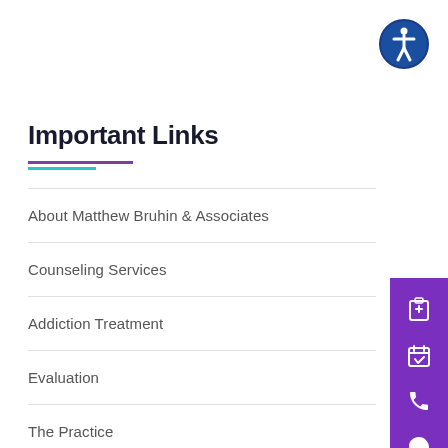[Figure (illustration): Accessibility icon — white person figure inside a blue circle with dark blue border]
Important Links
About Matthew Bruhin & Associates
Counseling Services
Addiction Treatment
Evaluation
The Practice
Contact Us